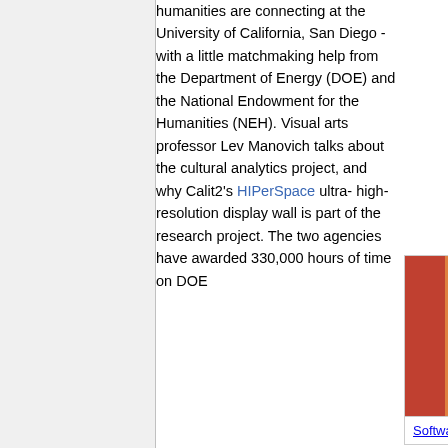humanities are connecting at the University of California, San Diego - with a little matchmaking help from the Department of Energy (DOE) and the National Endowment for the Humanities (NEH). Visual arts professor Lev Manovich talks about the cultural analytics project, and why Calit2's HIPerSpace ultra-high-resolution display wall is part of the research project. The two agencies have awarded 330,000 hours of time on DOE
[Figure (photo): Photo of Lev Manovich, a man with glasses and short spiky hair, in front of bookshelves or colorful artwork]
Software Studies